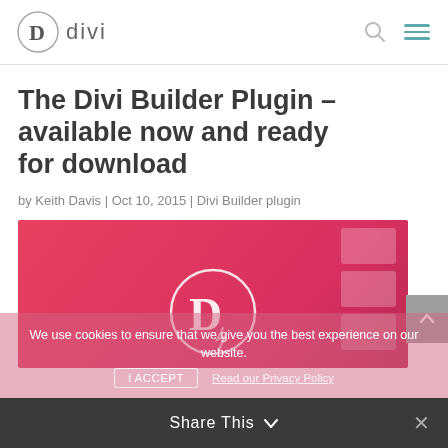divi
The Divi Builder Plugin – available now and ready for download
by Keith Davis | Oct 10, 2015 | Divi Builder plugin
[Figure (illustration): Featured image with pink/red gradient background showing Divi logo (D in circle) and decorative card shapes]
We use cookies to ensure that we give you the best experience on our website.
I ACCEPT   Read our Privacy Policy
Share This ∨